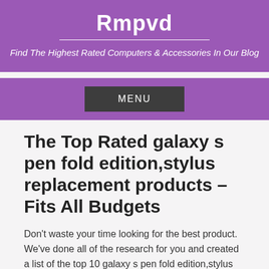Rmpvd
Find The Highest Rated Computers & Accessories In Our Blog
MENU
The Top Rated galaxy s pen fold edition,stylus replacement products –Fits All Budgets
Don't waste your time looking for the best product. We've done all of the research for you and created a list of the top 10 galaxy s pen fold edition,stylus replacement on the market. Not